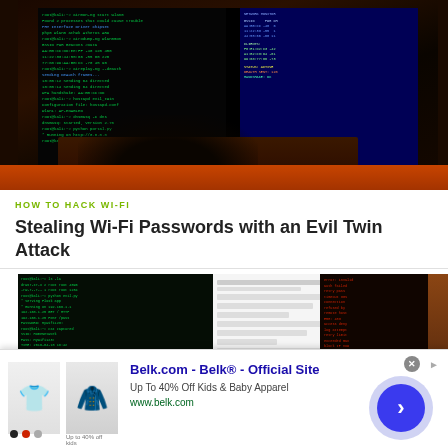[Figure (photo): Person typing on a laptop in the dark with glowing terminal/code screens showing green and blue text]
HOW TO HACK WI-FI
Stealing Wi-Fi Passwords with an Evil Twin Attack
[Figure (photo): Two screens visible: one with green terminal code, another with a web form and red error text]
Belk.com - Belk® - Official Site
Up To 40% Off Kids & Baby Apparel
www.belk.com